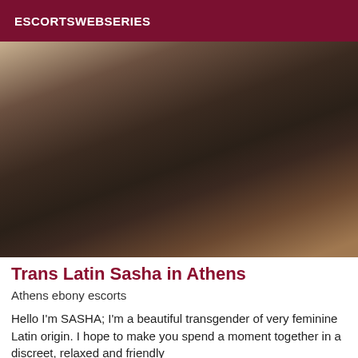ESCORTSWEBSERIES
[Figure (photo): A person wearing black leather pants and top, photographed from behind/side angle in a close-up shot]
Trans Latin Sasha in Athens
Athens ebony escorts
Hello I'm SASHA; I'm a beautiful transgender of very feminine Latin origin. I hope to make you spend a moment together in a discreet, relaxed and friendly